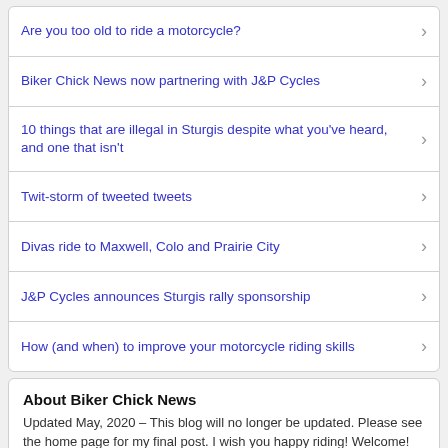Are you too old to ride a motorcycle?
Biker Chick News now partnering with J&P Cycles
10 things that are illegal in Sturgis despite what you've heard, and one that isn't
Twit-storm of tweeted tweets
Divas ride to Maxwell, Colo and Prairie City
J&P Cycles announces Sturgis rally sponsorship
How (and when) to improve your motorcycle riding skills
About Biker Chick News
Updated May, 2020 – This blog will no longer be updated. Please see the home page for my final post. I wish you happy riding! Welcome! Biker